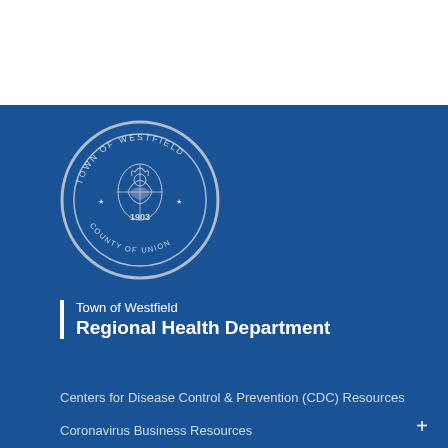[Figure (logo): Circular seal of Town of Westfield, County of Union, established 1903, with decorative emblem in center]
Town of Westfield
Regional Health Department
Centers for Disease Control & Prevention (CDC) Resources
Coronavirus Business Resources
Mayor's Coronavirus Updates
Westfield Regional Health Department (WRHD) Coronavirus Resources